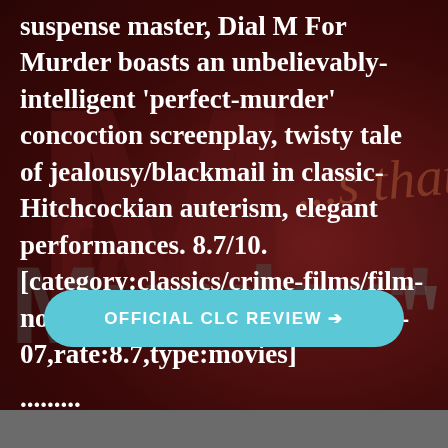suspense master, Dial M For Murder boasts an unbelievably-intelligent 'perfect-murder' concoction screenplay, twisty tale of jealousy/blackmail in classic-Hitchcockian auterism, elegant performances. 8.7/10. [category:classics/crime-films/film-noir/revengethriller,date:1954-12-07,rate:8.7,type:movies]
.........
[Figure (other): Background image of Dial M For Murder movie poster text/watermark in dark red tones with large stylized letters M, 'for', 'Murder' overlaid]
OFFICIAL CLC REVIEW →